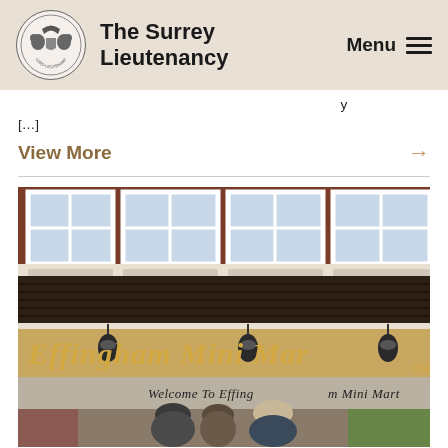The Surrey Lieutenancy — Menu
[...]
View More →
[Figure (photo): Photograph of the Effingham Mini Mart shop front, showing the store facade with wooden cladding, large windows, hanging lanterns, and the shop sign reading 'Effingham Mini Mart'. Below, a welcome awning reads 'Welcome To Effingham Mini Mart'. Three people are standing in front of the store.]